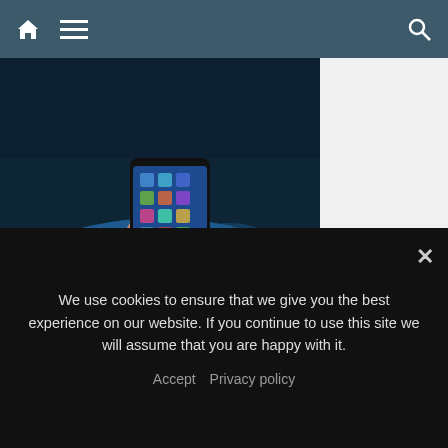Navigation bar with home icon, menu icon, and search icon
[Figure (photo): A person in a blue t-shirt holding a smartphone displaying apps on the screen, photographed against a blue background.]
Facebook Delays Encrypted Messages Plan On Messenger, Instagram Till 2023
November 23, 2021  Jeffrey
RECENT POST
We use cookies to ensure that we give you the best experience on our website. If you continue to use this site we will assume that you are happy with it.
Accept  Privacy policy